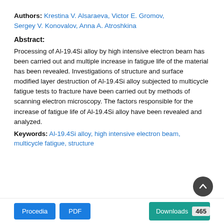Authors: Krestina V. Alsaraeva, Victor E. Gromov, Sergey V. Konovalov, Anna A. Atroshkina
Abstract:
Processing of Al-19.4Si alloy by high intensive electron beam has been carried out and multiple increase in fatigue life of the material has been revealed. Investigations of structure and surface modified layer destruction of Al-19.4Si alloy subjected to multicycle fatigue tests to fracture have been carried out by methods of scanning electron microscopy. The factors responsible for the increase of fatigue life of Al-19.4Si alloy have been revealed and analyzed.
Keywords: Al-19.4Si alloy, high intensive electron beam, multicycle fatigue, structure